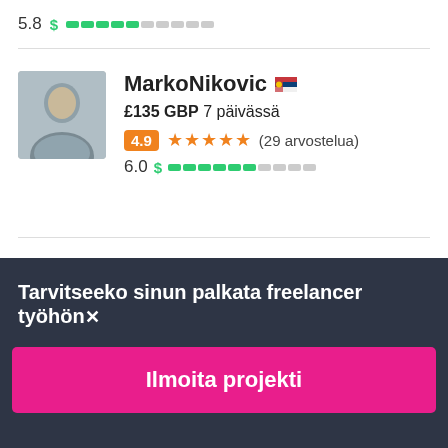5.8 $ [bar: 5 filled, 5 empty]
MarkoNikovic [RS flag]
£135 GBP 7 päivässä
4.9 ★★★★★ (29 arvostelua)
6.0 $ [bar: 6 filled, 4 empty]
Tarvitseeko sinun palkata freelancer työhön✕
Ilmoita projekti